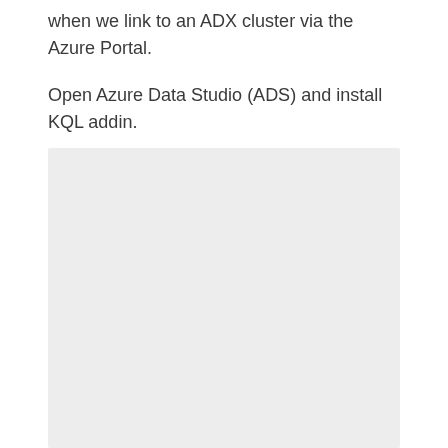when we link to an ADX cluster via the Azure Portal.
Open Azure Data Studio (ADS) and install KQL addin.
[Figure (screenshot): A screenshot placeholder with a light grey background, likely showing Azure Data Studio or a related UI.]